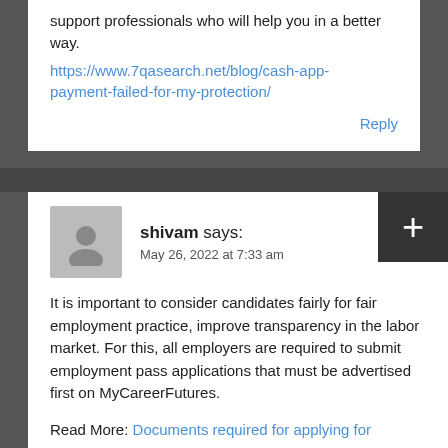support professionals who will help you in a better way.
https://www.7qasearch.net/blog/cash-app-payment-failed-for-my-protection/
Reply
shivam says:
May 26, 2022 at 7:33 am
It is important to consider candidates fairly for fair employment practice, improve transparency in the labor market. For this, all employers are required to submit employment pass applications that must be advertised first on MyCareerFutures.
Read More: Documents required for applying for